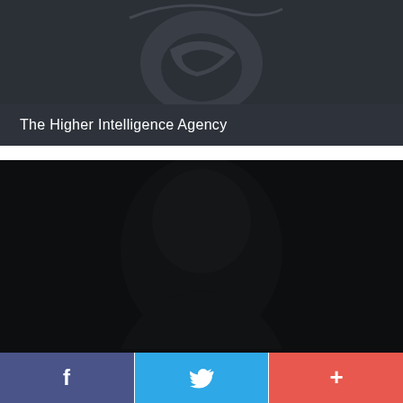[Figure (logo): Stylized bird/leaf logo in dark gray on dark background, partially visible at top]
The Higher Intelligence Agency
[Figure (photo): Dark photo of a person's face, barely visible against very dark background]
[Figure (infographic): Social media share bar at bottom: Facebook (blue-purple), Twitter (blue), Google+ (red-orange) with icons f, bird, +]